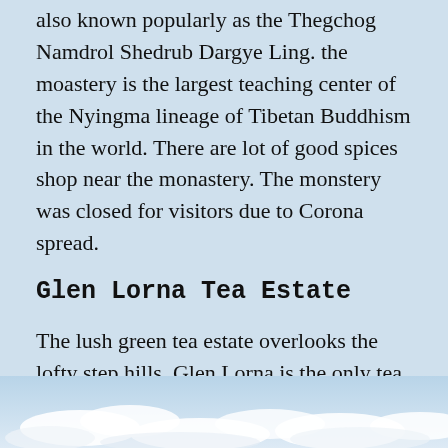also known popularly as the Thegchog Namdrol Shedrub Dargye Ling. the moastery is the largest teaching center of the Nyingma lineage of Tibetan Buddhism in the world. There are lot of good spices shop near the monastery. The monstery was closed for visitors due to Corona spread.
Glen Lorna Tea Estate
The lush green tea estate overlooks the lofty step hills. Glen Lorna is the only tea plantation in Coorg. there are stay options in the tea estate or you can travel to Madikeri for over night stay.
[Figure (photo): Partial view of a sky with clouds at the bottom of the page]